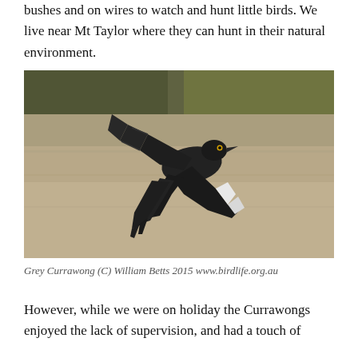bushes and on wires to watch and hunt little birds. We live near Mt Taylor where they can hunt in their natural environment.
[Figure (photo): A Grey Currawong bird in flight, wings spread, mostly black plumage with white wing patches, against a blurred sandy/earthy background with out-of-focus greenery behind.]
Grey Currawong (C) William Betts 2015 www.birdlife.org.au
However, while we were on holiday the Currawongs enjoyed the lack of supervision, and had a touch of